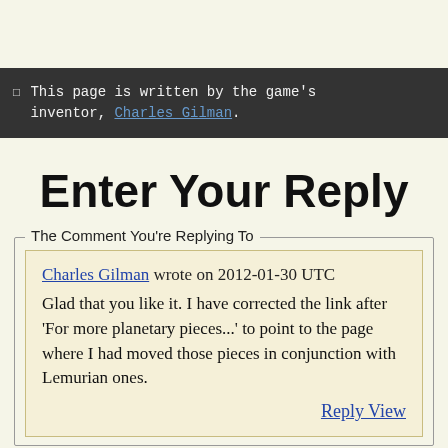This page is written by the game's inventor, Charles Gilman.
Enter Your Reply
The Comment You're Replying To
Charles Gilman wrote on 2012-01-30 UTC
Glad that you like it. I have corrected the link after 'For more planetary pieces...' to point to the page where I had moved those pieces in conjunction with Lemurian ones.
Reply View